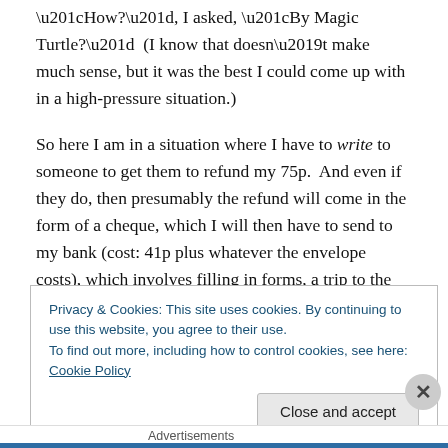“How?”, I asked, “By Magic Turtle?”  (I know that doesn’t make much sense, but it was the best I could come up with in a high-pressure situation.)
So here I am in a situation where I have to write to someone to get them to refund my 75p.  And even if they do, then presumably the refund will come in the form of a cheque, which I will then have to send to my bank (cost: 41p plus whatever the envelope costs), which involves filling in forms, a trip to the postbox, etc.  So I will recover, at best, 34p.
Privacy & Cookies: This site uses cookies. By continuing to use this website, you agree to their use.
To find out more, including how to control cookies, see here: Cookie Policy
Close and accept
Advertisements